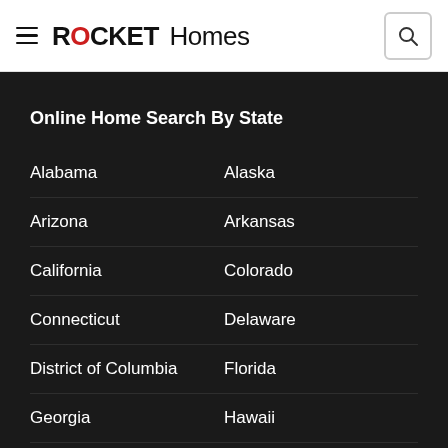ROCKET Homes
Online Home Search By State
Alabama
Alaska
Arizona
Arkansas
California
Colorado
Connecticut
Delaware
District of Columbia
Florida
Georgia
Hawaii